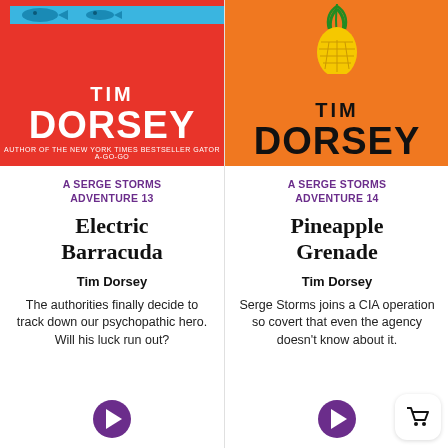[Figure (illustration): Book cover for Electric Barracuda by Tim Dorsey - red background with white bold text 'TIM DORSEY' and 'AUTHOR OF THE NEW YORK TIMES BESTSELLER GATOR A-GO-GO']
A SERGE STORMS ADVENTURE 13
Electric Barracuda
Tim Dorsey
The authorities finally decide to track down our psychopathic hero. Will his luck run out?
[Figure (illustration): Book cover for Pineapple Grenade by Tim Dorsey - orange background with black bold text 'TIM DORSEY' and pineapple illustration]
A SERGE STORMS ADVENTURE 14
Pineapple Grenade
Tim Dorsey
Serge Storms joins a CIA operation so covert that even the agency doesn't know about it.